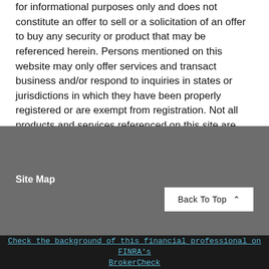for informational purposes only and does not constitute an offer to sell or a solicitation of an offer to buy any security or product that may be referenced herein. Persons mentioned on this website may only offer services and transact business and/or respond to inquiries in states or jurisdictions in which they have been properly registered or are exempt from registration. Not all products and services referenced on this site are available in every state, jurisdiction or from every person listed.
Site Map
Check the background of this financial professional on FINRA's BrokerCheck